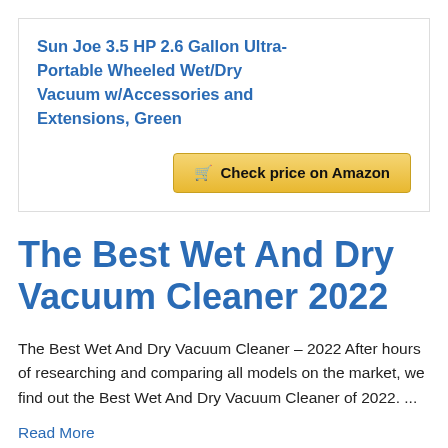Sun Joe 3.5 HP 2.6 Gallon Ultra-Portable Wheeled Wet/Dry Vacuum w/Accessories and Extensions, Green
Check price on Amazon
The Best Wet And Dry Vacuum Cleaner 2022
The Best Wet And Dry Vacuum Cleaner – 2022 After hours of researching and comparing all models on the market, we find out the Best Wet And Dry Vacuum Cleaner of 2022. ...
Read More
Posted in Review